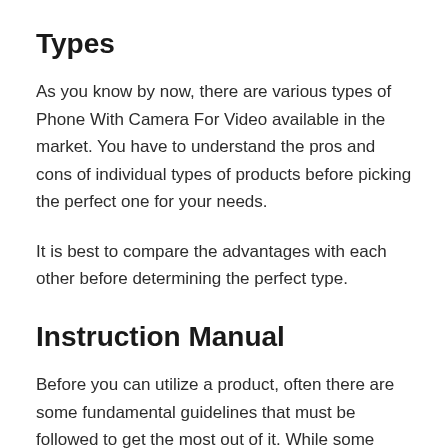Types
As you know by now, there are various types of Phone With Camera For Video available in the market. You have to understand the pros and cons of individual types of products before picking the perfect one for your needs.
It is best to compare the advantages with each other before determining the perfect type.
Instruction Manual
Before you can utilize a product, often there are some fundamental guidelines that must be followed to get the most out of it. While some